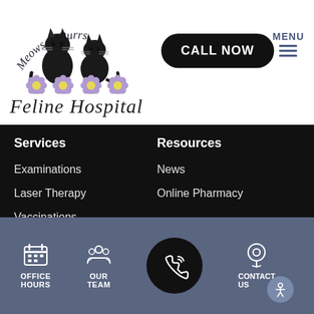[Figure (logo): Meows and Purrs Feline Hospital logo with two black cats and purple daisy flowers, cursive text 'Meows & Purrs' arched above, 'Feline Hospital' in serif italic below]
CALL NOW
MENU
Services
Resources
Examinations
Laser Therapy
Vaccinations
Pet Dermatology
Heartworm Testing
News
Online Pharmacy
OFFICE HOURS
OUR TEAM
CONTACT US